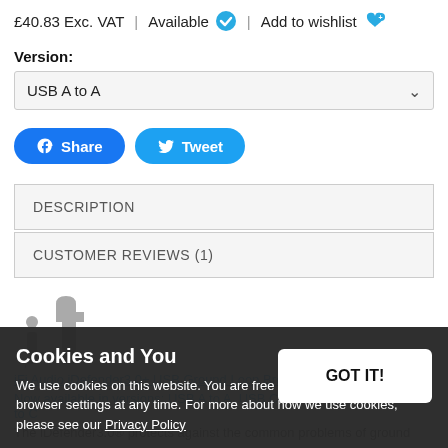£40.83 Exc. VAT | Available ✔ | Add to wishlist 💙
Version:
USB A to A
Share   Tweet
DESCRIPTION
CUSTOMER REVIEWS (1)
[Figure (logo): iFi audio logo in grey]
iFi Audio iDefender3.0+ USB Ground Loop Breaker
Now available in versions: USB A to A, USB C to USB A, USB C to C
The iDefender3.0® protects against the common problems of ground
Cookies and You
We use cookies on this website. You are free to manage these via your browser settings at any time. For more about how we use cookies, please see our Privacy Policy
GOT IT!